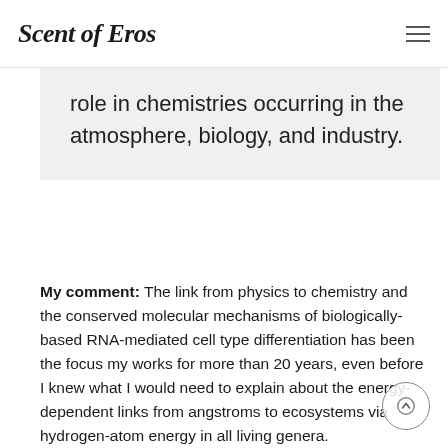Scent of Eros
role in chemistries occurring in the atmosphere, biology, and industry.
My comment: The link from physics to chemistry and the conserved molecular mechanisms of biologically-based RNA-mediated cell type differentiation has been the focus my works for more than 20 years, even before I knew what I would need to explain about the energy-dependent links from angstroms to ecosystems via hydrogen-atom energy in all living genera.